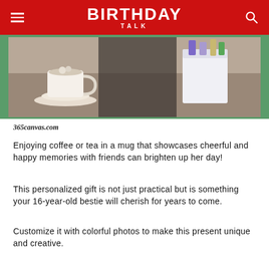BIRTHDAY TALK
[Figure (photo): Photo showing a coffee cup on a saucer and a gift box with colorful items, set against a green background]
365canvas.com
Enjoying coffee or tea in a mug that showcases cheerful and happy memories with friends can brighten up her day!
This personalized gift is not just practical but is something your 16-year-old bestie will cherish for years to come.
Customize it with colorful photos to make this present unique and creative.